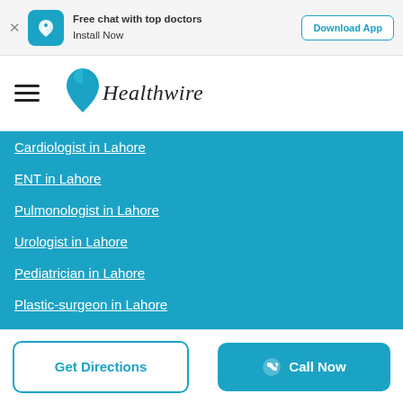Free chat with top doctors Install Now | Download App
[Figure (logo): Healthwire logo with teal shield/heart shape and italic text 'Healthwire']
Cardiologist in Lahore
ENT in Lahore
Pulmonologist in Lahore
Urologist in Lahore
Pediatrician in Lahore
Plastic-surgeon in Lahore
Psychiatrist in Lahore
Ophthalmologist in Lahore
Gynecologist in Karachi
Dermatologist in Karachi
Get Directions | Call Now